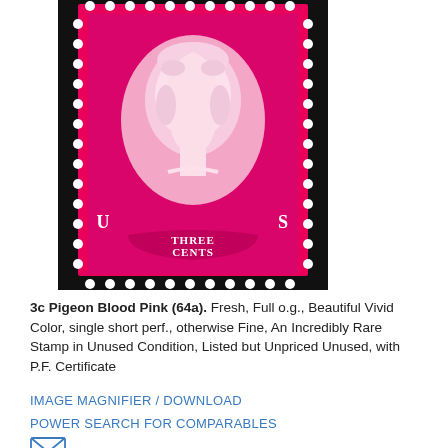[Figure (photo): Close-up photograph of a US 3-cent stamp in vivid pink/magenta color (Pigeon Blood Pink, Scott 64a), showing a profile portrait of George Washington with perforated edges and text 'THREE CENTS' at the bottom, 'U S' on the sides, on a black background.]
3c Pigeon Blood Pink (64a). Fresh, Full o.g., Beautiful Vivid Color, single short perf., otherwise Fine, An Incredibly Rare Stamp in Unused Condition, Listed but Unpriced Unused, with P.F. Certificate
IMAGE MAGNIFIER / DOWNLOAD
POWER SEARCH FOR COMPARABLES